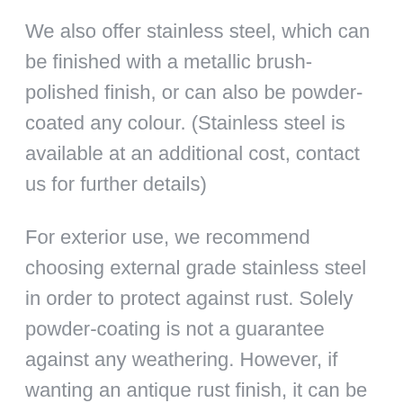We also offer stainless steel, which can be finished with a metallic brush-polished finish, or can also be powder-coated any colour. (Stainless steel is available at an additional cost, contact us for further details)
For exterior use, we recommend choosing external grade stainless steel in order to protect against rust. Solely powder-coating is not a guarantee against any weathering. However, if wanting an antique rust finish, it can be made from mild steel. Stainless steel isn't necessary, as the piece will preserve its current level of rust for a while before eventually weathering further.